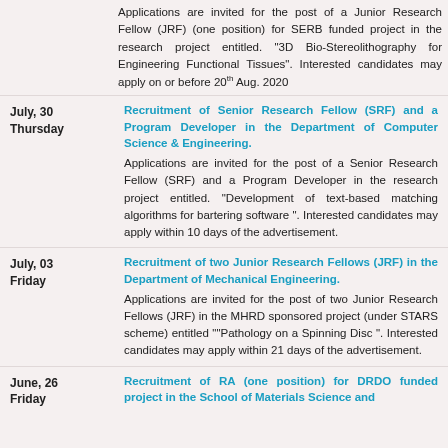Applications are invited for the post of a Junior Research Fellow (JRF) (one position) for SERB funded project in the research project entitled. "3D Bio-Stereolithography for Engineering Functional Tissues". Interested candidates may apply on or before 20th Aug. 2020
July, 30 Thursday
Recruitment of Senior Research Fellow (SRF) and a Program Developer in the Department of Computer Science & Engineering.
Applications are invited for the post of a Senior Research Fellow (SRF) and a Program Developer in the research project entitled. "Development of text-based matching algorithms for bartering software ". Interested candidates may apply within 10 days of the advertisement.
July, 03 Friday
Recruitment of two Junior Research Fellows (JRF) in the Department of Mechanical Engineering.
Applications are invited for the post of two Junior Research Fellows (JRF) in the MHRD sponsored project (under STARS scheme) entitled ""Pathology on a Spinning Disc ". Interested candidates may apply within 21 days of the advertisement.
June, 26 Friday
Recruitment of RA (one position) for DRDO funded project in the School of Materials Science and